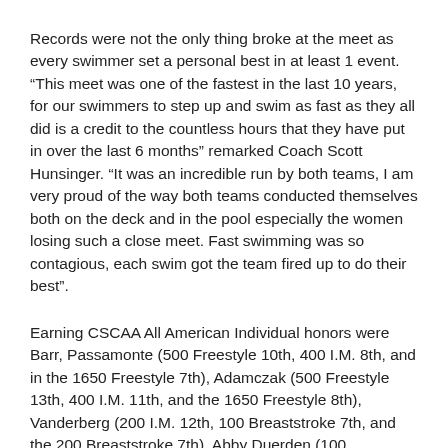Records were not the only thing broke at the meet as every swimmer set a personal best in at least 1 event. “This meet was one of the fastest in the last 10 years, for our swimmers to step up and swim as fast as they all did is a credit to the countless hours that they have put in over the last 6 months” remarked Coach Scott Hunsinger. “It was an incredible run by both teams, I am very proud of the way both teams conducted themselves both on the deck and in the pool especially the women losing such a close meet. Fast swimming was so contagious, each swim got the team fired up to do their best”.
Earning CSCAA All American Individual honors were Barr, Passamonte (500 Freestyle 10th, 400 I.M. 8th, and in the 1650 Freestyle 7th), Adamczak (500 Freestyle 13th, 400 I.M. 11th, and the 1650 Freestyle 8th), Vanderberg (200 I.M. 12th, 100 Breaststroke 7th, and the 200 Breaststroke 7th), Abby Duerden (100 Backstroke 12th and 200 Backstroke 10th), and Josh Sullivan (400 I.M. 10th and the 200 Breaststroke 15th).